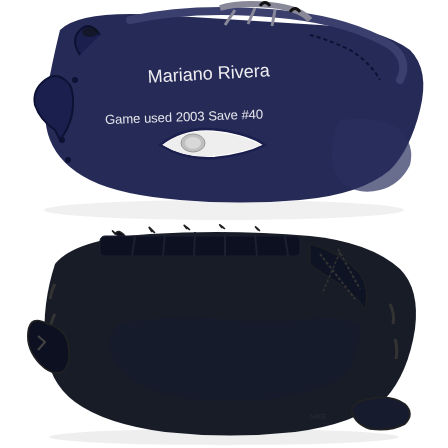[Figure (photo): Close-up of a navy blue Nike baseball glove signed by Mariano Rivera with the inscription 'Game used 2003 Save #40' written in white marker on the leather. The Nike swoosh logo is visible on the glove body.]
[Figure (photo): Interior/back view of a dark navy/black Nike baseball glove showing the finger stalls, lacing, and palm area of the used glove.]